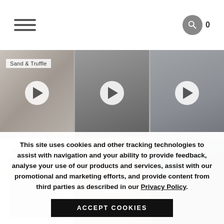Navigation header with hamburger menu, search icon, and cart count 0
[Figure (photo): Grid of 6 fashion/lifestyle images. Row 1: knit fabric closeup labeled 'Sand & Truffle' with play button, model face closeup with play button, seated model in dark outfit with play button. Row 2: white card with text 'Show up as the most authentic version of you.' with model in black dress, candle on ornate holder with play button, narrow European alley street scene.]
This site uses cookies and other tracking technologies to assist with navigation and your ability to provide feedback, analyse your use of our products and services, assist with our promotional and marketing efforts, and provide content from third parties as described in our Privacy Policy.
ACCEPT COOKIES